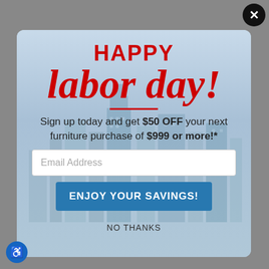[Figure (screenshot): Website popup modal for Labor Day furniture sale promotion with email signup form]
HAPPY labor day!
Sign up today and get $50 OFF your next furniture purchase of $999 or more!*
Email Address
ENJOY YOUR SAVINGS!
NO THANKS